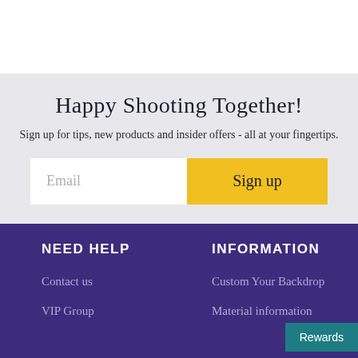Happy Shooting Together!
Sign up for tips, new products and insider offers - all at your fingertips.
NEED HELP
INFORMATION
Contact us
Custom Your Backdrop
VIP Group
Material information